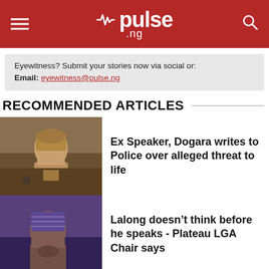pulse.ng
Eyewitness? Submit your stories now via social or:
Email: eyewitness@pulse.ng
RECOMMENDED ARTICLES
[Figure (photo): Photo of a man in traditional attire speaking at a podium]
Ex Speaker, Dogara writes to Police over alleged threat to life
[Figure (photo): Close-up photo of a man in a checkered cap]
Lalong doesn’t think before he speaks - Plateau LGA Chair says